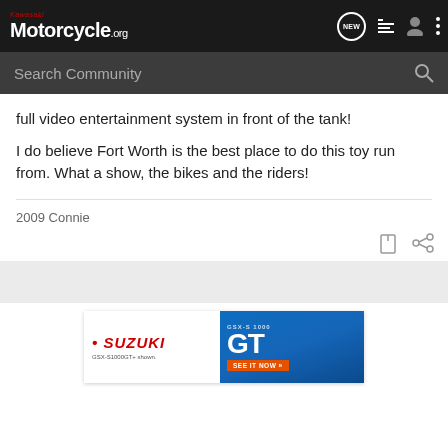Kawasaki Motorcycle.org
full video entertainment system in front of the tank!
I do believe Fort Worth is the best place to do this toy run from. What a show, the bikes and the riders!
2009 Connie
[Figure (infographic): Advertisement for Suzuki GSX-S1000 GT motorcycle with blue background, Suzuki logo on white left panel, GSX-S 1000 model text, GT in large letters, and SEE IT NOW button]
GSX-S1000GT+ shown.